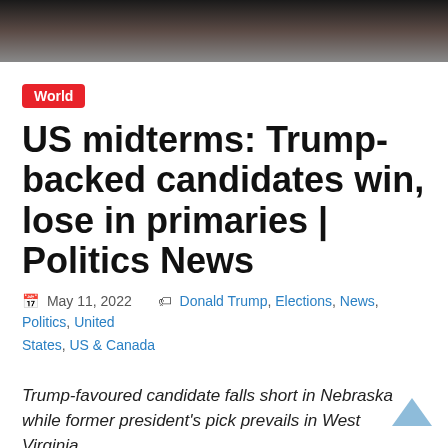[Figure (photo): Top photo strip showing people at a political event, partially cropped]
World
US midterms: Trump-backed candidates win, lose in primaries | Politics News
May 11, 2022   Donald Trump, Elections, News, Politics, United States, US & Canada
Trump-favoured candidate falls short in Nebraska while former president's pick prevails in West Virginia.
Republican primary elections on Tuesday in Nebraska and West Virginia yielded mixed results for politicians